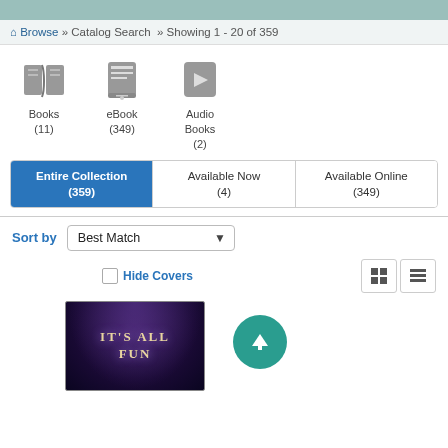Browse » Catalog Search » Showing 1 - 20 of 359
[Figure (illustration): Three format icons: Books (open book icon), eBook (e-reader icon), Audio Books (speaker icon)]
Books (11)
eBook (349)
Audio Books (2)
| Entire Collection (359) | Available Now (4) | Available Online (349) |
| --- | --- | --- |
Sort by  Best Match
Hide Covers
[Figure (screenshot): Book cover for 'It's All Fun' with dark fantasy art background showing ornate archway]